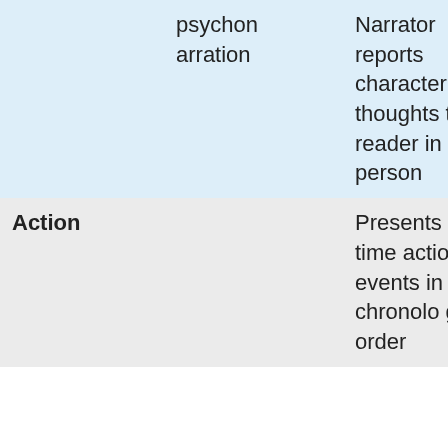|  | psychonarration | Narrator reports character's thoughts to reader in third person |
| Action |  | Presents real-time action and events in chronological order |